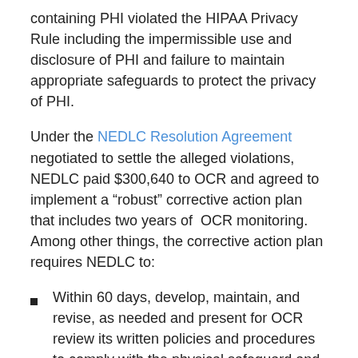containing PHI violated the HIPAA Privacy Rule including the impermissible use and disclosure of PHI and failure to maintain appropriate safeguards to protect the privacy of PHI.
Under the NEDLC Resolution Agreement negotiated to settle the alleged violations, NEDLC paid $300,640 to OCR and agreed to implement a “robust” corrective action plan that includes two years of OCR monitoring. Among other things, the corrective action plan requires NEDLC to:
Within 60 days, develop, maintain, and revise, as needed and present for OCR review its written policies and procedures to comply with the physical safeguard and disposal of PHI created, received or maintained by or on behalf of NEDLC and all other HIPAA Privacy, Security and Breach Notification and training protocols